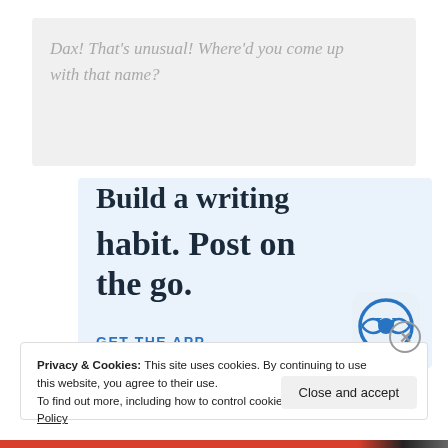Dax! That's unusual! Where'd you come up with that name?
[Figure (screenshot): WordPress mobile app promotion banner with text 'Build a writing habit. Post on the go.' and 'GET THE APP' link with WordPress logo icon]
Privacy & Cookies: This site uses cookies. By continuing to use this website, you agree to their use. To find out more, including how to control cookies, see here: Cookie Policy
Close and accept